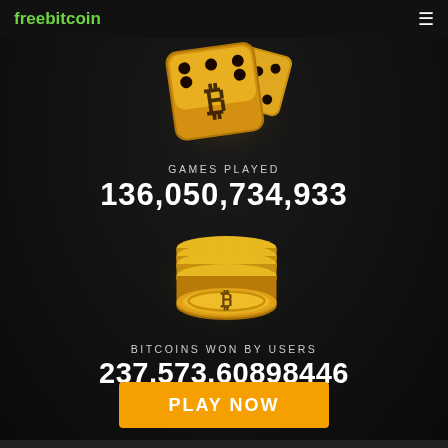freebitcoin
[Figure (illustration): Two golden dice with Bitcoin symbols, shown partially cropped at the top]
GAMES PLAYED
136,050,734,933
[Figure (illustration): Stack of golden Bitcoin coins]
BITCOINS WON BY USERS
237,573.60898446
PLAY NOW